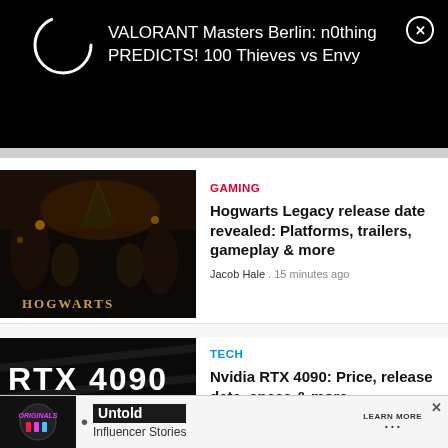[Figure (screenshot): Black notification bar with circular loading icon and text: VALORANT Masters Berlin: n0thing PREDICTS! 100 Thieves vs Envy, with a close (X) button]
VALORANT Masters Berlin: n0thing PREDICTS! 100 Thieves vs Envy
[Figure (photo): Hogwarts Legacy game screenshot showing characters in Hogwarts with sorting hat]
GAMING
Hogwarts Legacy release date revealed: Platforms, trailers, gameplay & more
Jacob Hale . 15 minutes ago
[Figure (photo): RTX 4090 promotional image with large white text RTX 4090 on black background with GPU visible at bottom]
TECH
Nvidia RTX 4090: Price, release date, specs & more
Sayem Ahmed . 19 minutes ago
[Figure (screenshot): Advertisement bar at bottom: Originals logo, Untold Influencer Stories, Learn More button, X close button]